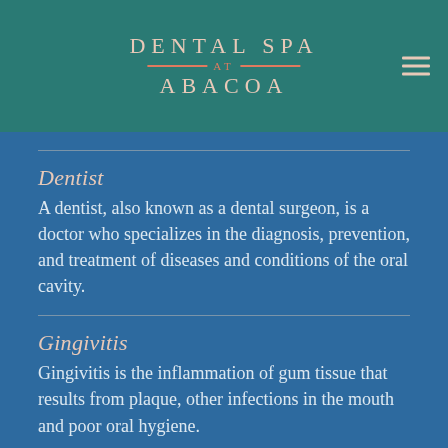DENTAL SPA AT ABACOA
Dentist
A dentist, also known as a dental surgeon, is a doctor who specializes in the diagnosis, prevention, and treatment of diseases and conditions of the oral cavity.
Gingivitis
Gingivitis is the inflammation of gum tissue that results from plaque, other infections in the mouth and poor oral hygiene.
Preventive Dentistry